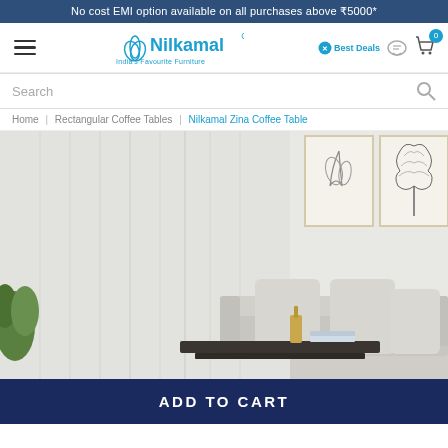No cost EMI option available on all purchases above ₹5000*
[Figure (logo): Nilkamal logo with lotus flower icon and tagline India's Favourite Furniture]
Best Deals
Search
Home | Rectangular Coffee Tables | Nilkamal Zina Coffee Table
[Figure (photo): Living room scene with a grey sofa, white cushions, decorative items on a dark coffee table, and botanical artwork on the wall]
ADD TO CART